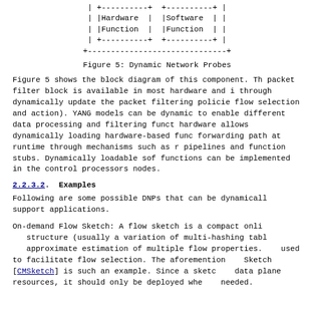[Figure (schematic): ASCII block diagram showing Hardware Function and Software Function boxes inside a Dynamic Network Probes component box]
Figure 5: Dynamic Network Probes
Figure 5 shows the block diagram of this component. The packet filter block is available in most hardware and is through dynamically update the packet filtering policies flow selection and action). YANG models can be dynamic to enable different data processing and filtering funct hardware allows dynamically loading hardware-based func forwarding path at runtime through mechanisms such as r pipelines and function stubs. Dynamically loadable sof functions can be implemented in the control processors nodes.
2.2.3.2. Examples
Following are some possible DNPs that can be dynamically support applications.
On-demand Flow Sketch: A flow sketch is a compact onli structure (usually a variation of multi-hashing tabl approximate estimation of multiple flow properties. used to facilitate flow selection. The aforemention Sketch [CMSketch] is such an example. Since a sketc data plane resources, it should only be deployed whe needed.